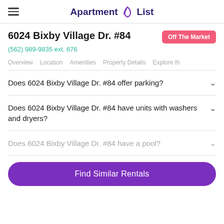Apartment List
6024 Bixby Village Dr. #84
Off The Market
(562) 989-9835 ext. 676
Overview
Location
Amenities
Property Details
Explore th
Does 6024 Bixby Village Dr. #84 offer parking?
Does 6024 Bixby Village Dr. #84 have units with washers and dryers?
Does 6024 Bixby Village Dr. #84 have a pool?
Find Similar Rentals